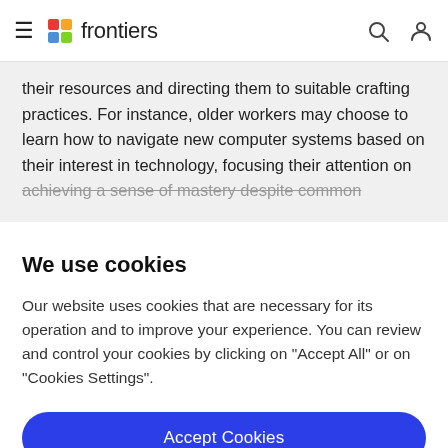frontiers
their resources and directing them to suitable crafting practices. For instance, older workers may choose to learn how to navigate new computer systems based on their interest in technology, focusing their attention on achieving a sense of mastery despite common
We use cookies
Our website uses cookies that are necessary for its operation and to improve your experience. You can review and control your cookies by clicking on "Accept All" or on "Cookies Settings".
Accept Cookies
Cookies Settings